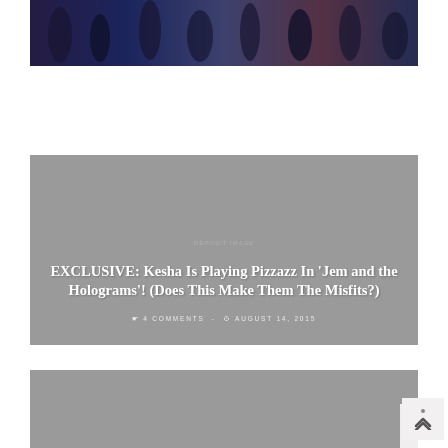[Figure (photo): Movie promotional banner image with superhero characters on dark blue/purple background]
[Figure (photo): Article card with gray background featuring overlaid text about Kesha playing Pizzazz in Jem and the Holograms]
EXCLUSIVE: Kesha Is Playing Pizzazz In 'Jem and the Holograms'! (Does This Make Them The Misfits?)
4 COMMENTS · AUGUST 14, 2015
[Figure (photo): Partial gray card image for another article, partially cut off at bottom of page]